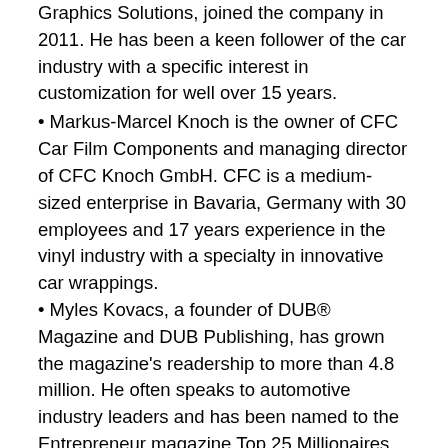Graphics Solutions, joined the company in 2011. He has been a keen follower of the car industry with a specific interest in customization for well over 15 years.
Markus-Marcel Knoch is the owner of CFC Car Film Components and managing director of CFC Knoch GmbH. CFC is a medium-sized enterprise in Bavaria, Germany with 30 employees and 17 years experience in the vinyl industry with a specialty in innovative car wrappings.
Myles Kovacs, a founder of DUB® Magazine and DUB Publishing, has grown the magazine's readership to more than 4.8 million. He often speaks to automotive industry leaders and has been named to the Entrepreneur magazine Top 25 Millionaires list.
Justin Pate is a well known car wrapping instructor and installer. Pate teaches all Avery Dennison wrap installation classes in North America. He's been in the industry for more than 18 years and has wrapped more than 3,000 vehicles.
Adrian Rope is managing director of Totally Dynamic, one of the UK's best known specialist vehicle wrap companies